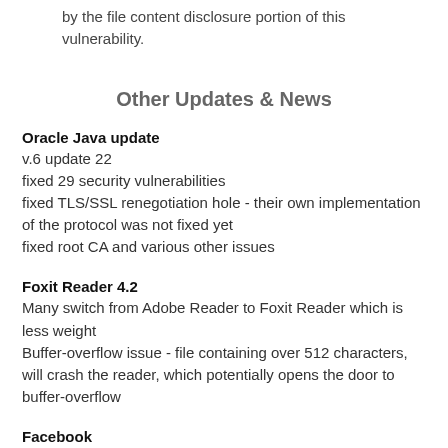by the file content disclosure portion of this vulnerability.
Other Updates & News
Oracle Java update
v.6 update 22
fixed 29 security vulnerabilities
fixed TLS/SSL renegotiation hole - their own implementation of the protocol was not fixed yet
fixed root CA and various other issues
Foxit Reader 4.2
Many switch from Adobe Reader to Foxit Reader which is less weight
Buffer-overflow issue - file containing over 512 characters, will crash the reader, which potentially opens the door to buffer-overflow
Facebook
Facebook has added one-time password support